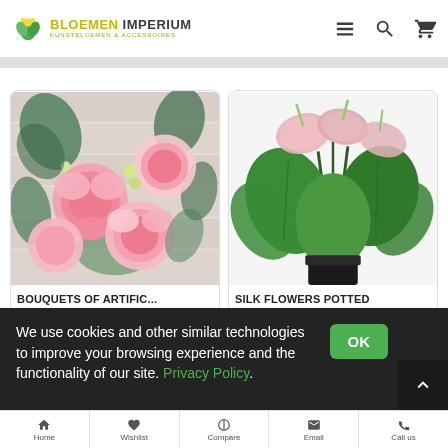BLOEMEN IMPERIUM — KUNSTBLOEMEN & ACCESSOIRES
[Figure (photo): Product card showing a bouquet of artificial pink peony flowers with green leaves on a white wooden background. Label: BOUQUETS OF ARTIFIC...]
[Figure (photo): Product card showing a silk potted plant with large green heart-shaped leaves and pink anthurium flowers. Label: SILK FLOWERS POTTED]
We use cookies and other similar technologies to improve your browsing experience and the functionality of our site. Privacy Policy.
Home | Wishlist | Compare | Email | Call us